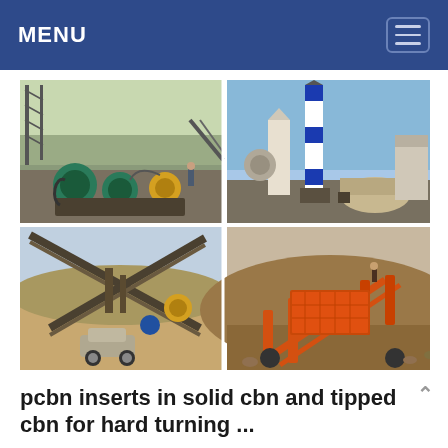MENU
[Figure (photo): Four-panel image grid showing industrial mining and aggregate processing equipment: top-left shows ball mills and conveyor equipment at an outdoor site; top-right shows an asphalt or cement plant with blue-and-white striped tower and cylindrical drum; bottom-left shows conveyor belts crossing at a quarry site with a car visible; bottom-right shows an orange screening/sorting machine on a hillside.]
pcbn inserts in solid cbn and tipped cbn for hard turning ...